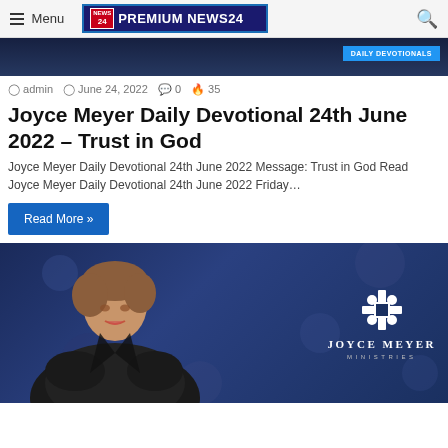Menu | PREMIUM NEWS24
[Figure (screenshot): Dark blue background image strip with DAILY DEVOTIONALS button]
admin  June 24, 2022  0  35
Joyce Meyer Daily Devotional 24th June 2022 – Trust in God
Joyce Meyer Daily Devotional 24th June 2022 Message: Trust in God Read Joyce Meyer Daily Devotional 24th June 2022 Friday…
Read More »
[Figure (photo): Joyce Meyer Ministries photo showing Joyce Meyer smiling with the Joyce Meyer Ministries logo on the right]